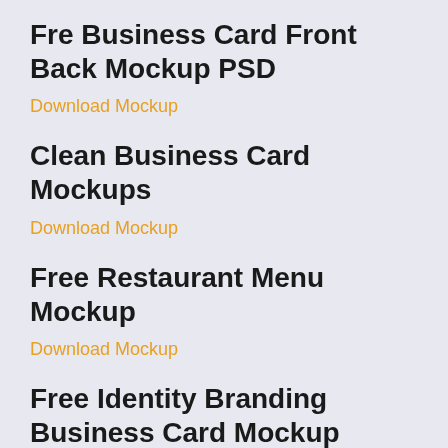Fre Business Card Front Back Mockup PSD
Download Mockup
Clean Business Card Mockups
Download Mockup
Free Restaurant Menu Mockup
Download Mockup
Free Identity Branding Business Card Mockup
Download Mockup